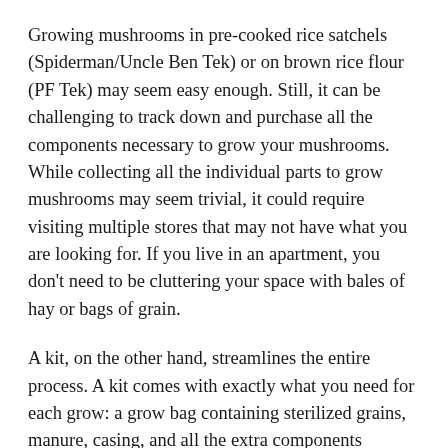Growing mushrooms in pre-cooked rice satchels (Spiderman/Uncle Ben Tek) or on brown rice flour (PF Tek) may seem easy enough. Still, it can be challenging to track down and purchase all the components necessary to grow your mushrooms. While collecting all the individual parts to grow mushrooms may seem trivial, it could require visiting multiple stores that may not have what you are looking for. If you live in an apartment, you don't need to be cluttering your space with bales of hay or bags of grain.
A kit, on the other hand, streamlines the entire process. A kit comes with exactly what you need for each grow: a grow bag containing sterilized grains, manure, casing, and all the extra components